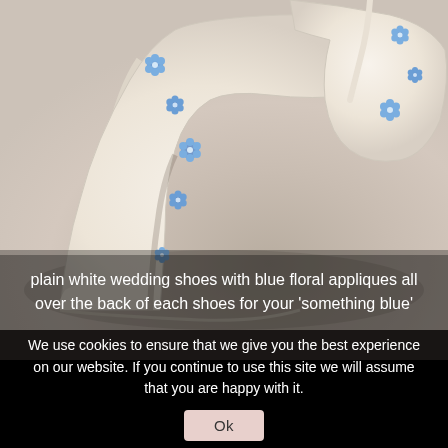[Figure (photo): Close-up photo of plain white bridal high-heel pumps with blue floral appliques decorating the back strap of each shoe, arranged on a muted taupe background.]
plain white wedding shoes with blue floral appliques all over the back of each shoes for your 'something blue'
We use cookies to ensure that we give you the best experience on our website. If you continue to use this site we will assume that you are happy with it.